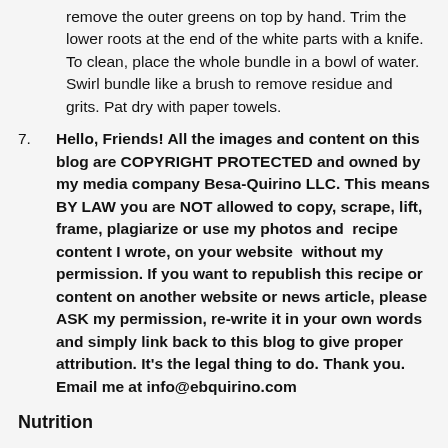remove the outer greens on top by hand. Trim the lower roots at the end of the white parts with a knife. To clean, place the whole bundle in a bowl of water. Swirl bundle like a brush to remove residue and grits. Pat dry with paper towels.
Hello, Friends! All the images and content on this blog are COPYRIGHT PROTECTED and owned by my media company Besa-Quirino LLC. This means BY LAW you are NOT allowed to copy, scrape, lift, frame, plagiarize or use my photos and recipe content I wrote, on your website without my permission. If you want to republish this recipe or content on another website or news article, please ASK my permission, re-write it in your own words and simply link back to this blog to give proper attribution. It's the legal thing to do. Thank you. Email me at info@ebquirino.com
Nutrition